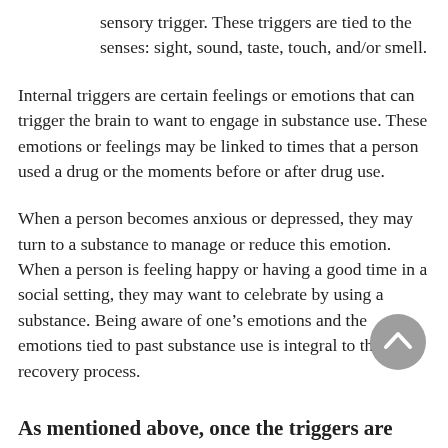sensory trigger. These triggers are tied to the senses: sight, sound, taste, touch, and/or smell.
Internal triggers are certain feelings or emotions that can trigger the brain to want to engage in substance use. These emotions or feelings may be linked to times that a person used a drug or the moments before or after drug use.
When a person becomes anxious or depressed, they may turn to a substance to manage or reduce this emotion. When a person is feeling happy or having a good time in a social setting, they may want to celebrate by using a substance. Being aware of one's emotions and the emotions tied to past substance use is integral to the recovery process.
As mentioned above, once the triggers are